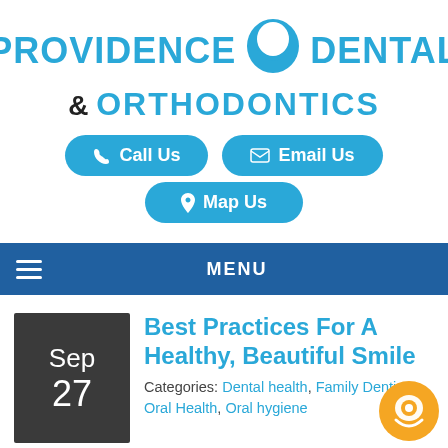[Figure (logo): Providence Dental & Orthodontics logo with blue tooth icon]
Call Us
Email Us
Map Us
MENU
Best Practices For A Healthy, Beautiful Smile
Categories: Dental health, Family Dentistry, Oral Health, Oral hygiene